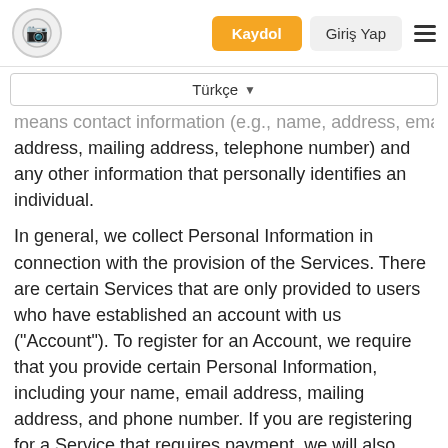Kaydol | Giriş Yap
Türkçe
means contact information (e.g., name, address, email address, mailing address, telephone number) and any other information that personally identifies an individual.
In general, we collect Personal Information in connection with the provision of the Services. There are certain Services that are only provided to users who have established an account with us ("Account"). To register for an Account, we require that you provide certain Personal Information, including your name, email address, mailing address, and phone number. If you are registering for a Service that requires payment, we will also collect payment information, including (i) your name as it appears on the card; (ii) the credit card type; (iii) a valid credit card number; (iv) the date of